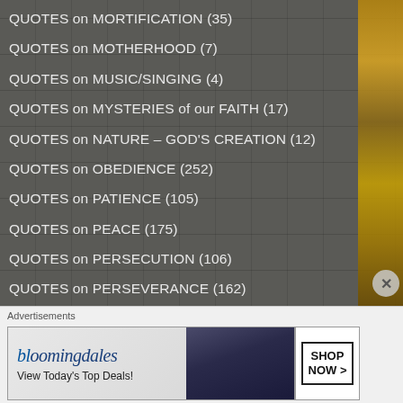QUOTES on MORTIFICATION (35)
QUOTES on MOTHERHOOD (7)
QUOTES on MUSIC/SINGING (4)
QUOTES on MYSTERIES of our FAITH (17)
QUOTES on NATURE – GOD'S CREATION (12)
QUOTES on OBEDIENCE (252)
QUOTES on PATIENCE (105)
QUOTES on PEACE (175)
QUOTES on PERSECUTION (106)
QUOTES on PERSEVERANCE (162)
QUOTES on POVERTY (17)
Advertisements
[Figure (other): Bloomingdales advertisement banner: 'bloomingdales – View Today's Top Deals!' with a woman in a wide-brim hat and a 'SHOP NOW >' button]